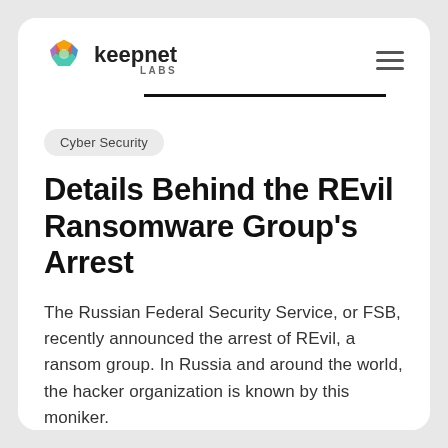[Figure (logo): Keepnet Labs logo with colorful hexagonal icon and text 'keepnet LABS']
Cyber Security
Details Behind the REvil Ransomware Group's Arrest
The Russian Federal Security Service, or FSB, recently announced the arrest of REvil, a ransom group. In Russia and around the world, the hacker organization is known by this moniker.